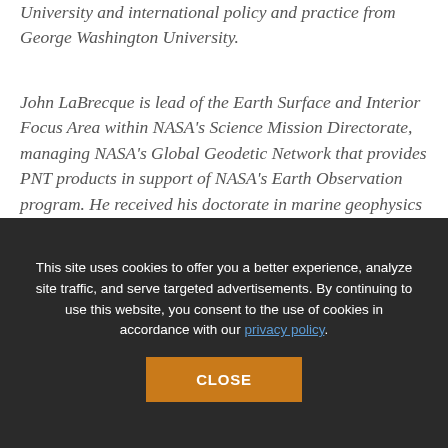University and international policy and practice from George Washington University.
John LaBrecque is lead of the Earth Surface and Interior Focus Area within NASA's Science Mission Directorate, managing NASA's Global Geodetic Network that provides PNT products in support of NASA's Earth Observation program. He received his doctorate in marine geophysics from Columbia University.
A. J. Oria works for Overlook Systems Technologies...
This site uses cookies to offer you a better experience, analyze site traffic, and serve targeted advertisements. By continuing to use this website, you consent to the use of cookies in accordance with our privacy policy.